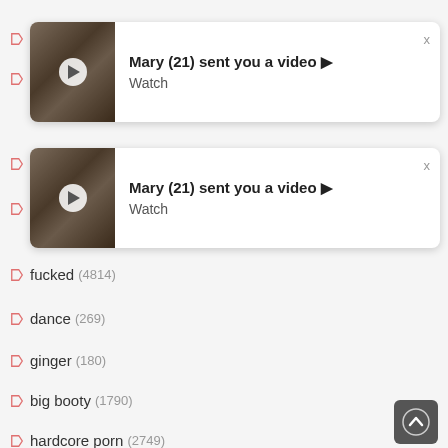[Figure (screenshot): Notification popup showing 'Mary (21) sent you a video' with thumbnail and Watch link, overlaying list items 'bh...' and 'ste...']
[Figure (screenshot): Second notification popup showing 'Mary (21) sent you a video' with thumbnail and Watch link, overlaying list items 'da...' and 'mo...']
fucked (4814)
dance (269)
ginger (180)
big booty (1790)
hardcore porn (2749)